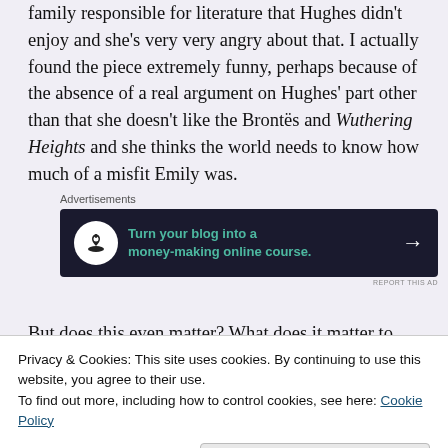family responsible for literature that Hughes didn't enjoy and she's very very angry about that. I actually found the piece extremely funny, perhaps because of the absence of a real argument on Hughes' part other than that she doesn't like the Brontës and Wuthering Heights and she thinks the world needs to know how much of a misfit Emily was.
[Figure (other): Advertisement banner: dark navy background with bonsai tree logo in white circle, green text reading 'Turn your blog into a money-making online course.' with white arrow pointing right. Label 'Advertisements' above.]
But does this even matter? What does it matter to
Privacy & Cookies: This site uses cookies. By continuing to use this website, you agree to their use.
To find out more, including how to control cookies, see here: Cookie Policy
Close and accept
that this is just a story and it doesn't have to be the